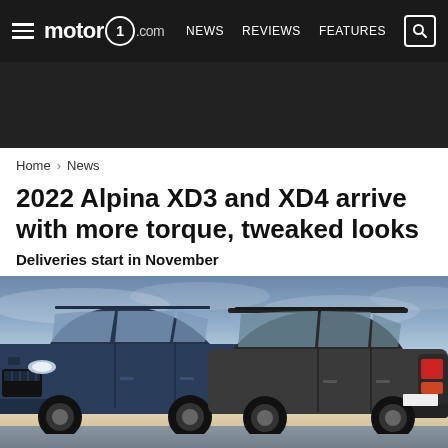motor1.com  NEWS  REVIEWS  FEATURES
[Figure (other): Dark advertisement banner area]
Home > News
2022 Alpina XD3 and XD4 arrive with more torque, tweaked looks
Deliveries start in November
[Figure (photo): Two Alpina SUVs (XD3 and XD4) photographed outdoors at dusk/sunset with blue-grey sky. The left vehicle is a dark blue SUV shown from front-left angle, and the right vehicle is a dark grey/black SUV shown from rear-right angle.]